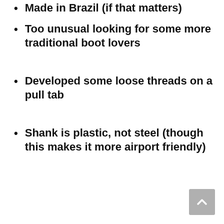Made in Brazil (if that matters)
Too unusual looking for some more traditional boot lovers
Developed some loose threads on a pull tab
Shank is plastic, not steel (though this makes it more airport friendly)